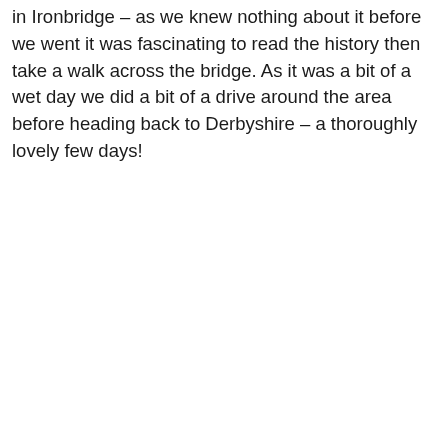in Ironbridge – as we knew nothing about it before we went it was fascinating to read the history then take a walk across the bridge. As it was a bit of a wet day we did a bit of a drive around the area before heading back to Derbyshire – a thoroughly lovely few days!